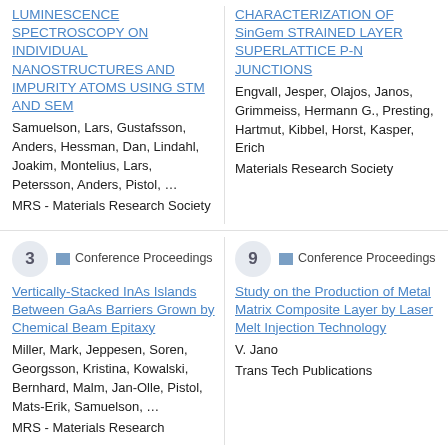LUMINESCENCE SPECTROSCOPY ON INDIVIDUAL NANOSTRUCTURES AND IMPURITY ATOMS USING STM AND SEM
Samuelson, Lars, Gustafsson, Anders, Hessman, Dan, Lindahl, Joakim, Montelius, Lars, Petersson, Anders, Pistol, …
MRS - Materials Research Society
CHARACTERIZATION OF SinGem STRAINED LAYER SUPERLATTICE P-N JUNCTIONS
Engvall, Jesper, Olajos, Janos, Grimmeiss, Hermann G., Presting, Hartmut, Kibbel, Horst, Kasper, Erich
Materials Research Society
3   Conference Proceedings
Vertically-Stacked InAs Islands Between GaAs Barriers Grown by Chemical Beam Epitaxy
Miller, Mark, Jeppesen, Soren, Georgsson, Kristina, Kowalski, Bernhard, Malm, Jan-Olle, Pistol, Mats-Erik, Samuelson, …
MRS - Materials Research
9   Conference Proceedings
Study on the Production of Metal Matrix Composite Layer by Laser Melt Injection Technology
V. Jano
Trans Tech Publications